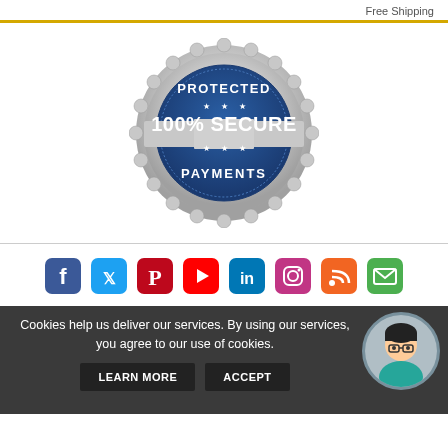Free Shipping
[Figure (logo): 100% Secure Payments badge - circular silver badge with blue center, text reading PROTECTED at top, 100% SECURE in center, PAYMENTS at bottom]
[Figure (infographic): Social media icons row: Facebook, Twitter, Pinterest, YouTube, LinkedIn, Instagram, RSS, Email]
Cookies help us deliver our services. By using our services, you agree to our use of cookies.
LEARN MORE  ACCEPT